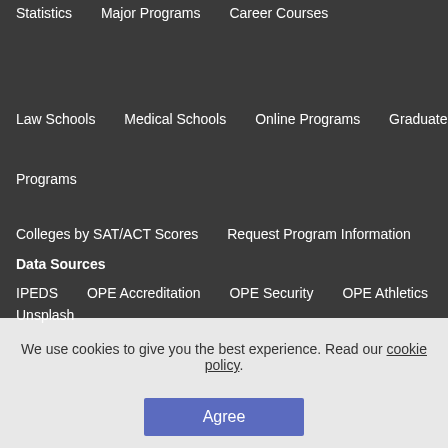Statistics
Major Programs
Career Courses
Law Schools
Medical Schools
Online Programs
Graduate Programs
Colleges by SAT/ACT Scores
Request Program Information
Data Sources
IPEDS
OPE Accreditation
OPE Security
OPE Athletics
Unsplash
We use cookies to give you the best experience. Read our cookie policy.
Agree